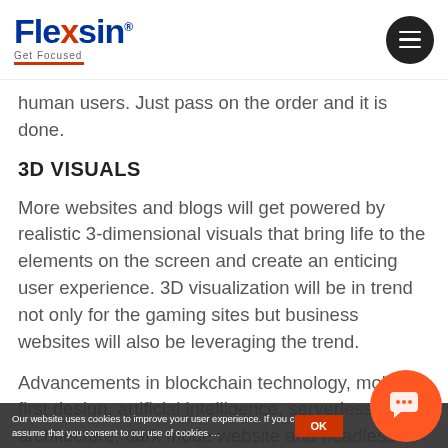Flexsin® — Get Focused
human users. Just pass on the order and it is done.
3D VISUALS
More websites and blogs will get powered by realistic 3-dimensional visuals that bring life to the elements on the screen and create an enticing user experience. 3D visualization will be in trend not only for the gaming sites but business websites will also be leveraging the trend.
Advancements in blockchain technology, mobile-first design, artificial intelligence, serverless architecture, dark mode website and headless CMS will continue to grow in popularity in 2021 and beyond.
Our website uses cookies to improve your user experience. If you continue assume that you consent to our use of cookies …